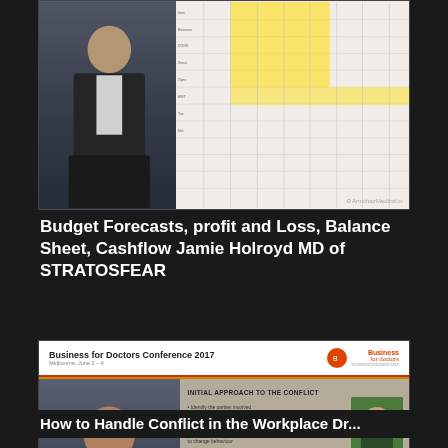[Figure (screenshot): Video thumbnail: speaker at podium on left, large spreadsheet/table with yellow highlighted cells on right. ArmchairMedical.tv watermark.]
Budget Forecasts, profit and Loss, Balance Sheet, Cashflow Jamie Holroyd MD of STRATOSFEAR
[Figure (screenshot): Video thumbnail: Business for Doctors Conference 2017 Melbourne June 2-4 slide with speaker on left and presentation slide 'INITIAL APPROACH TO THE CONFLICT' on right showing bullet points and a photo of a person with magnifying glass. ArmchairMedical.tv watermark.]
How to Handle Conflict in the Workplace Dr...